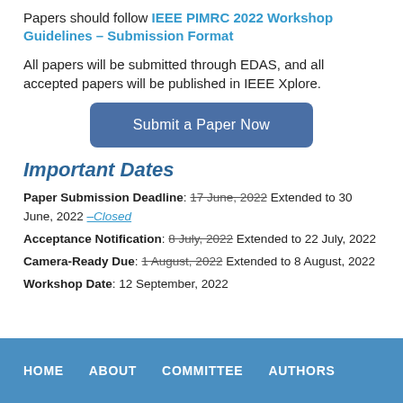Papers should follow IEEE PIMRC 2022 Workshop Guidelines – Submission Format
All papers will be submitted through EDAS, and all accepted papers will be published in IEEE Xplore.
Submit a Paper Now
Important Dates
Paper Submission Deadline: 17 June, 2022 Extended to 30 June, 2022 –Closed
Acceptance Notification: 8 July, 2022 Extended to 22 July, 2022
Camera-Ready Due: 1 August, 2022 Extended to 8 August, 2022
Workshop Date: 12 September, 2022
HOME   ABOUT   COMMITTEE   AUTHORS